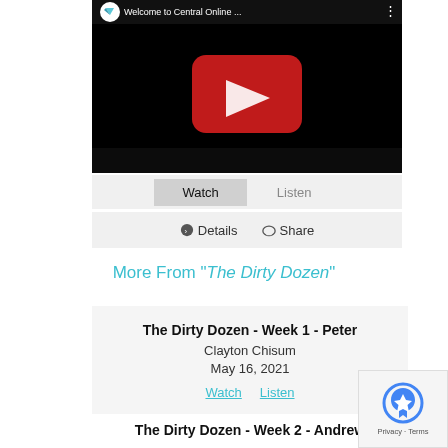[Figure (screenshot): YouTube video embed showing 'Welcome to Central Online ...' with a black background and red play button]
Watch   Listen
Details   Share
More From "The Dirty Dozen"
The Dirty Dozen - Week 1 - Peter
Clayton Chisum
May 16, 2021
Watch   Listen
The Dirty Dozen - Week 2 - Andrew